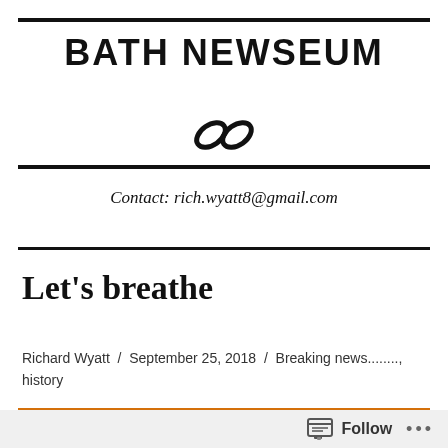BATH NEWSEUM
[Figure (illustration): Chain link icon / logo symbol]
Contact: rich.wyatt8@gmail.com
Let's breathe
Richard Wyatt  /  September 25, 2018  /  Breaking news........, history
[Figure (other): Orange horizontal bar decorative element]
Follow ...